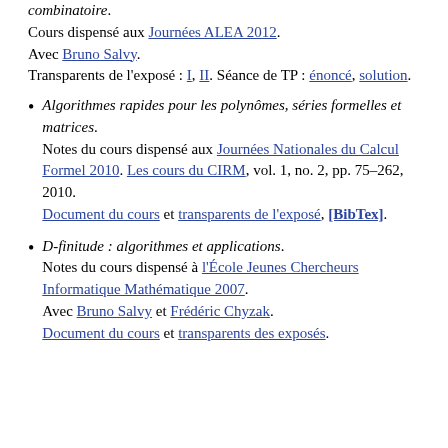combinatoire. Cours dispensé aux Journées ALEA 2012. Avec Bruno Salvy. Transparents de l'exposé : I, II. Séance de TP : énoncé, solution.
Algorithmes rapides pour les polynômes, séries formelles et matrices. Notes du cours dispensé aux Journées Nationales du Calcul Formel 2010. Les cours du CIRM, vol. 1, no. 2, pp. 75–262, 2010. Document du cours et transparents de l'exposé, [BibTex].
D-finitude : algorithmes et applications. Notes du cours dispensé à l'École Jeunes Chercheurs Informatique Mathématique 2007. Avec Bruno Salvy et Frédéric Chyzak. Document du cours et transparents des exposés.